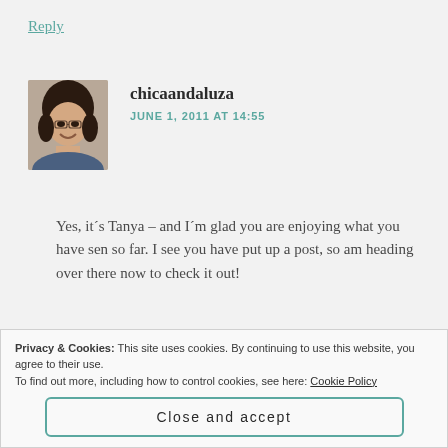Reply
[Figure (photo): Avatar photo of a smiling woman with dark hair]
chicaandaluza
JUNE 1, 2011 AT 14:55
Yes, it´s Tanya – and I´m glad you are enjoying what you have sen so far. I see you have put up a post, so am heading over there now to check it out!
Privacy & Cookies: This site uses cookies. By continuing to use this website, you agree to their use.
To find out more, including how to control cookies, see here: Cookie Policy
Close and accept